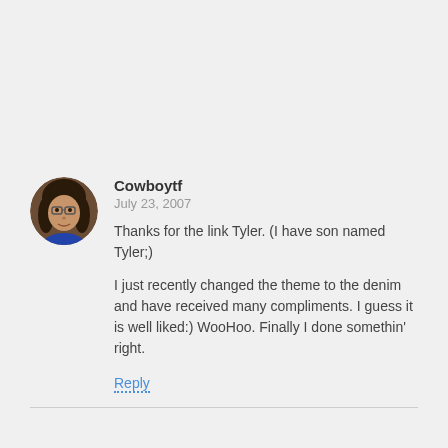[Figure (photo): Circular avatar photo of a woman with glasses and dark hair]
Cowboytf
July 23, 2007

Thanks for the link Tyler. (I have son named Tyler;)

I just recently changed the theme to the denim and have received many compliments. I guess it is well liked:) WooHoo. Finally I done somethin' right.

Reply